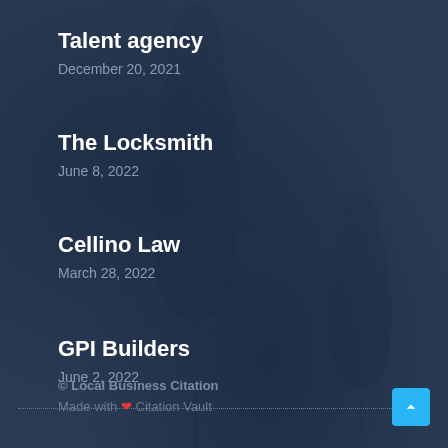Talent agency
December 20, 2021
The Locksmith
June 8, 2022
Cellino Law
March 28, 2022
GPI Builders
June 2, 2022
© Local Business Citation
Made with ❤ Citation Vault